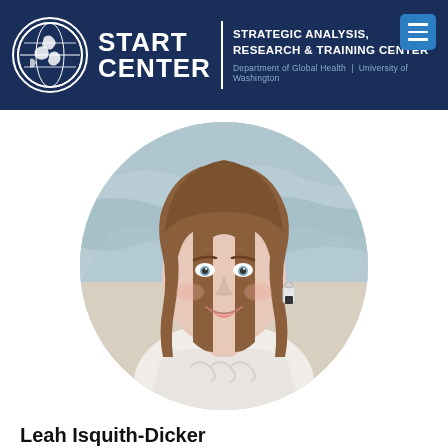START CENTER | STRATEGIC ANALYSIS, RESEARCH & TRAINING CENTER | Department of Global Health | University of Washington
[Figure (photo): Circular portrait photo of Leah Isquith-Dicker, a young woman with brown hair, smiling, wearing a white patterned top and drop earrings, with a blurred world map in the background.]
Leah Isquith-Dicker